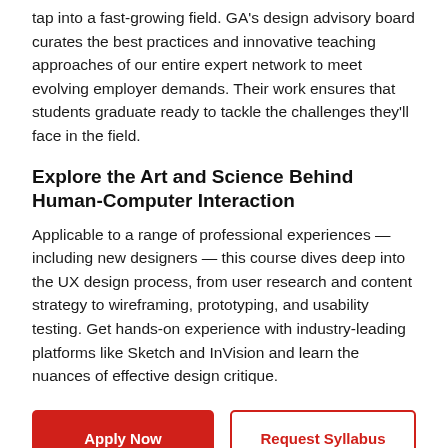tap into a fast-growing field. GA's design advisory board curates the best practices and innovative teaching approaches of our entire expert network to meet evolving employer demands. Their work ensures that students graduate ready to tackle the challenges they'll face in the field.
Explore the Art and Science Behind Human-Computer Interaction
Applicable to a range of professional experiences — including new designers — this course dives deep into the UX design process, from user research and content strategy to wireframing, prototyping, and usability testing. Get hands-on experience with industry-leading platforms like Sketch and InVision and learn the nuances of effective design critique.
Apply Now
Request Syllabus